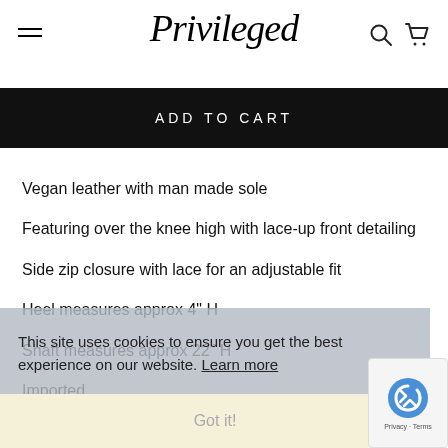Privileged
ADD TO CART
Vegan leather with man made sole
Featuring over the knee high with lace-up front detailing
Side zip closure with lace for an adjustable fit
Heel measures approx 4" H
Shaft measures approx 22" H
Imported
This site uses cookies to ensure you get the best experience on our website. Learn more
Got it!